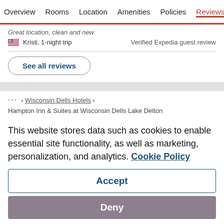Overview  Rooms  Location  Amenities  Policies  Reviews
Great location, clean and new
Kristi, 1-night trip
Verified Expedia guest review
See all reviews
... > Wisconsin Dells Hotels >
Hampton Inn & Suites at Wisconsin Dells Lake Delton
This website stores data such as cookies to enable essential site functionality, as well as marketing, personalization, and analytics. Cookie Policy
Accept
Deny